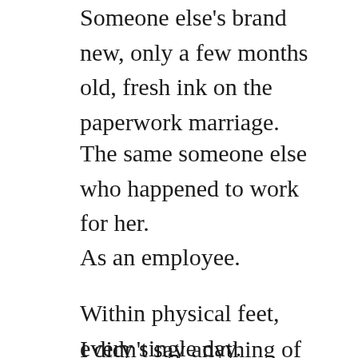Someone else's brand new, only a few months old, fresh ink on the paperwork marriage.
The same someone else who happened to work for her.
As an employee.
Within physical feet, every single day.
I didn't say anything of this until...